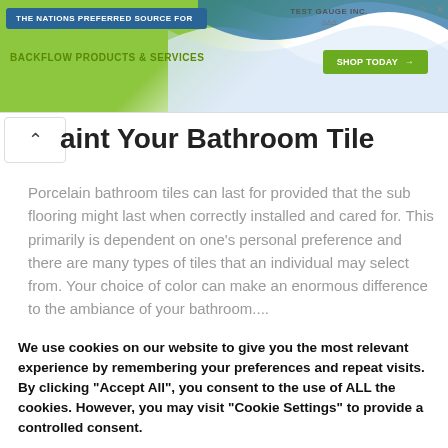[Figure (infographic): Advertisement banner for Test Gauge Inc. with blue pill-shaped bar reading 'THE NATIONS PREFERRED SOURCE FOR', green text 'BACKFLOW PRODUCTS & SERVICES', a 'SHOP TODAY →' green button, the Test Gauge Inc. logo, a sponsored/close icon, and a green/white wave graphic background.]
aint Your Bathroom Tile
Porcelain bathroom tiles can last for provided that the sub flooring might last when correctly installed and cared for. This primarily is dependent on one's personal preference and there are many types of tiles that an individual may select from. Your choice of color can make an enormous difference to the ambiance of your bathroom....
We use cookies on our website to give you the most relevant experience by remembering your preferences and repeat visits. By clicking "Accept All", you consent to the use of ALL the cookies. However, you may visit "Cookie Settings" to provide a controlled consent.